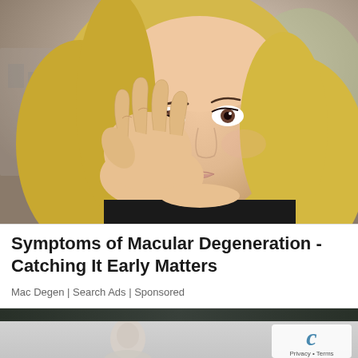[Figure (photo): Young blonde woman rubbing her right eye with her hand, appearing to be in discomfort, wearing a black top, photographed outdoors with blurred background]
Symptoms of Macular Degeneration - Catching It Early Matters
Mac Degen | Search Ads | Sponsored
[Figure (photo): Second advertisement card showing a partially visible bust/sculpture figure on a gray background with a reCAPTCHA logo box in the top-right corner]